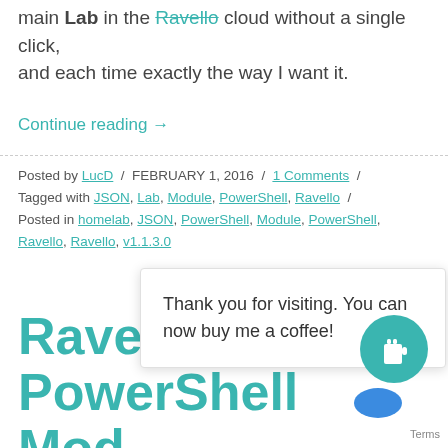main Lab in the Ravello cloud without a single click, and each time exactly the way I want it.
Continue reading →
Posted by LucD / FEBRUARY 1, 2016 / 1 Comments / Tagged with JSON, Lab, Module, PowerShell, Ravello / Posted in homelab, JSON, PowerShell, Module, PowerShell, Ravello, Ravello, v1.1.3.0
Ravello PowerShell Mod...
Thank you for visiting. You can now buy me a coffee!
This post ... example PowerShell scripts that use the